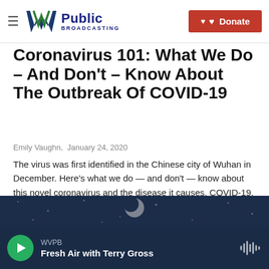WV Public Broadcasting — Donate
Coronavirus 101: What We Do – And Don't – Know About The Outbreak Of COVID-19
Emily Vaughn,  January 24, 2020
The virus was first identified in the Chinese city of Wuhan in December. Here's what we do — and don't — know about this novel coronavirus and the disease it causes, COVID-19.
LISTEN • 10:49
[Figure (screenshot): Dark blue image strip showing cosmic/space background at bottom of article]
WVPB
Fresh Air with Terry Gross